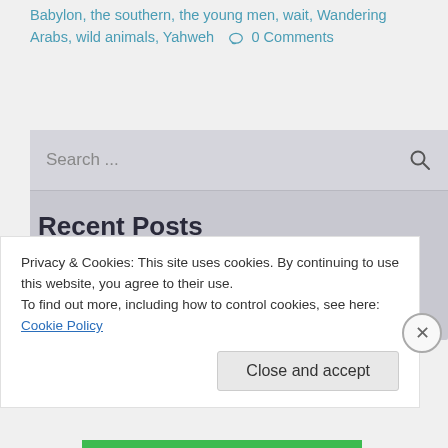Babylon, the southern, the young men, wait, Wandering Arabs, wild animals, Yahweh    0 Comments
[Figure (screenshot): Search bar widget with placeholder text 'Search ...' and a magnifying glass icon on the right, styled with a light grey background.]
Recent Posts
Privacy & Cookies: This site uses cookies. By continuing to use this website, you agree to their use.
To find out more, including how to control cookies, see here: Cookie Policy